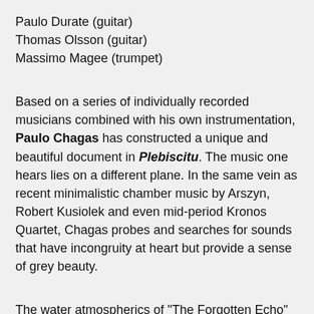Paulo Durate (guitar)
Thomas Olsson (guitar)
Massimo Magee (trumpet)
Based on a series of individually recorded musicians combined with his own instrumentation, Paulo Chagas has constructed a unique and beautiful document in Plebiscitu. The music one hears lies on a different plane. In the same vein as recent minimalistic chamber music by Arszyn, Robert Kusiolek and even mid-period Kronos Quartet, Chagas probes and searches for sounds that have incongruity at heart but provide a sense of grey beauty.
The water atmospherics of "The Forgotten Echo" is wrapped and drenched in Chagas' clarinet and haunting string movements from Duplant and Waugh. "The Naked Ballerina" offers a small bit of Mideastern flavour while also exploring some interested soundscapes provided by Durate's guitar and Moreira's cello. There's a point very late in the piece where all the instruments rise in an extended crescendo that